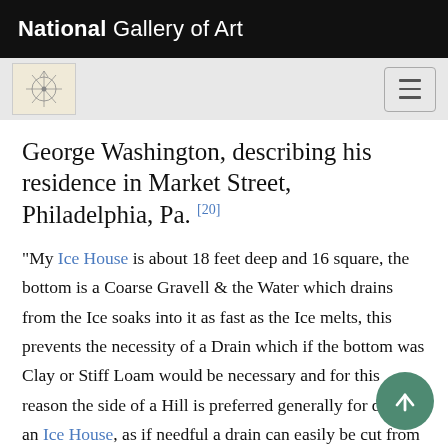National Gallery of Art
George Washington, describing his residence in Market Street, Philadelphia, Pa. [20]
"My Ice House is about 18 feet deep and 16 square, the bottom is a Coarse Gravell & the Water which drains from the Ice soaks into it as fast as the Ice melts, this prevents the necessity of a Drain which if the bottom was Clay or Stiff Loam would be necessary and for this reason the side of a Hill is preferred generally for digging an Ice House, as if needful a drain can easily be cut from the bottom of it, through the side of the Hill to let the Water run out. The Walls of my Ice House are built of